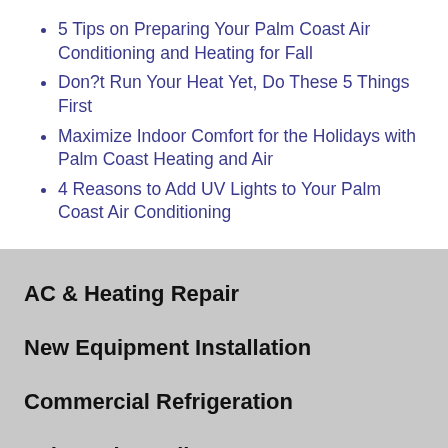5 Tips on Preparing Your Palm Coast Air Conditioning and Heating for Fall
Don?t Run Your Heat Yet, Do These 5 Things First
Maximize Indoor Comfort for the Holidays with Palm Coast Heating and Air
4 Reasons to Add UV Lights to Your Palm Coast Air Conditioning
AC & Heating Repair
New Equipment Installation
Commercial Refrigeration
Indoor Air Quality